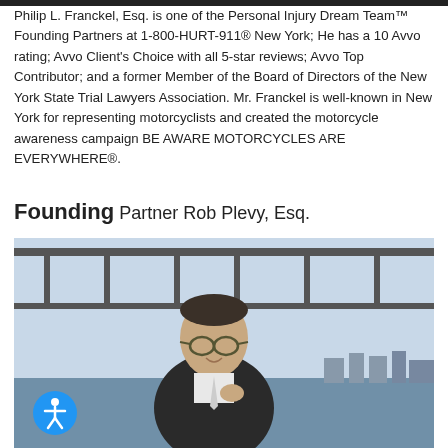Philip L. Franckel, Esq. is one of the Personal Injury Dream Team™ Founding Partners at 1-800-HURT-911® New York; He has a 10 Avvo rating; Avvo Client's Choice with all 5-star reviews; Avvo Top Contributor; and a former Member of the Board of Directors of the New York State Trial Lawyers Association. Mr. Franckel is well-known in New York for representing motorcyclists and created the motorcycle awareness campaign BE AWARE MOTORCYCLES ARE EVERYWHERE®.
Founding Partner Rob Plevy, Esq.
[Figure (photo): Photo of Rob Plevy, Esq. — a man in a dark suit adjusting his collar, outdoors with a bridge structure visible in the background, blue sky and water visible.]